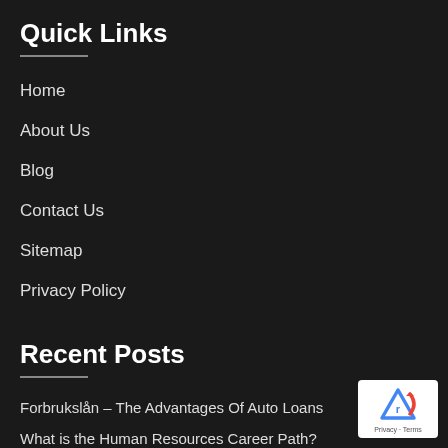Quick Links
Home
About Us
Blog
Contact Us
Sitemap
Privacy Policy
Recent Posts
Forbrukslån – The Advantages Of Auto Loans
What is the Human Resources Career Path?
Career Paths for HR Consultants